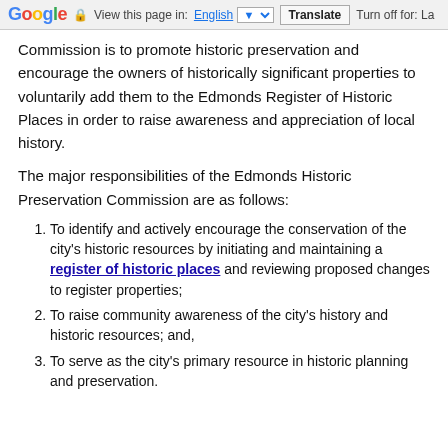Google  View this page in: English [▼]  Translate  Turn off for: La
Commission is to promote historic preservation and encourage the owners of historically significant properties to voluntarily add them to the Edmonds Register of Historic Places in order to raise awareness and appreciation of local history.
The major responsibilities of the Edmonds Historic Preservation Commission are as follows:
To identify and actively encourage the conservation of the city's historic resources by initiating and maintaining a register of historic places and reviewing proposed changes to register properties;
To raise community awareness of the city's history and historic resources; and,
To serve as the city's primary resource in historic planning and preservation.